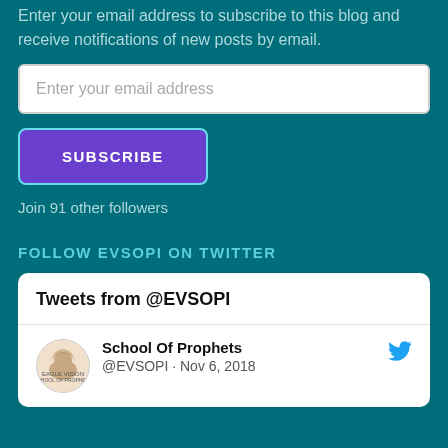Enter your email address to subscribe to this blog and receive notifications of new posts by email.
Enter your email address
SUBSCRIBE
Join 91 other followers
FOLLOW EVSOPI ON TWITTER
Tweets from @EVSOPI
School Of Prophets @EVSOPI · Nov 6, 2018